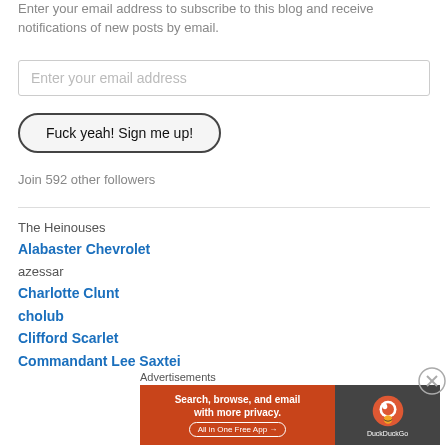Enter your email address to subscribe to this blog and receive notifications of new posts by email.
Enter your email address
Fuck yeah! Sign me up!
Join 592 other followers
The Heinouses
Alabaster Chevrolet
azessar
Charlotte Clunt
cholub
Clifford Scarlet
Commandant Lee Saxtei
Advertisements
[Figure (other): DuckDuckGo advertisement banner: 'Search, browse, and email with more privacy. All in One Free App' with DuckDuckGo logo]